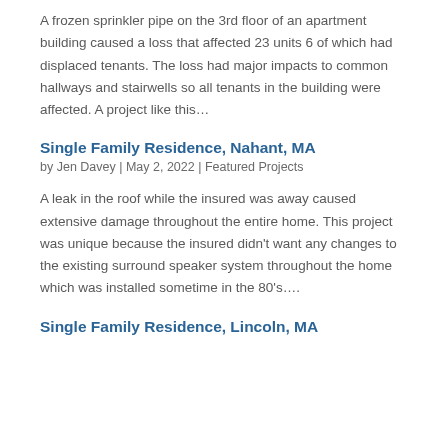A frozen sprinkler pipe on the 3rd floor of an apartment building caused a loss that affected 23 units 6 of which had displaced tenants. The loss had major impacts to common hallways and stairwells so all tenants in the building were affected. A project like this…
Single Family Residence, Nahant, MA
by Jen Davey | May 2, 2022 | Featured Projects
A leak in the roof while the insured was away caused extensive damage throughout the entire home. This project was unique because the insured didn't want any changes to the existing surround speaker system throughout the home which was installed sometime in the 80's….
Single Family Residence, Lincoln, MA